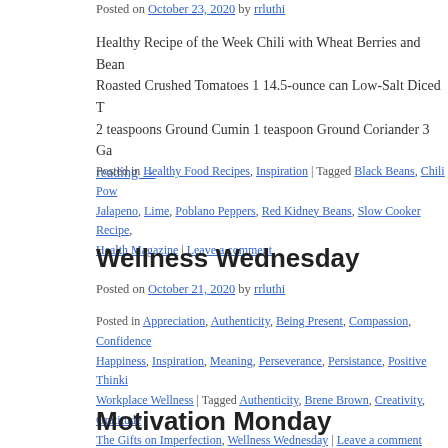Posted on October 23, 2020 by rrluthi
Healthy Recipe of the Week Chili with Wheat Berries and Bean Roasted Crushed Tomatoes 1 14.5-ounce can Low-Salt Diced T 2 teaspoons Ground Cumin 1 teaspoon Ground Coriander 3 Ga reading →
Posted in Healthy Food Recipes, Inspiration | Tagged Black Beans, Chili Pow Jalapeno, Lime, Poblano Peppers, Red Kidney Beans, Slow Cooker Recipe, Health Magazine | Leave a comment
Wellness Wednesday
Posted on October 21, 2020 by rrluthi
Posted in Appreciation, Authenticity, Being Present, Compassion, Confidence Happiness, Inspiration, Meaning, Perseverance, Persistance, Positive Thinki Workplace Wellness | Tagged Authenticity, Brene Brown, Creativity, Gratitude The Gifts on Imperfection, Wellness Wednesday | Leave a comment
Motivation Monday